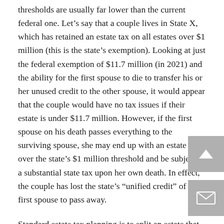thresholds are usually far lower than the current federal one. Let's say that a couple lives in State X, which has retained an estate tax on all estates over $1 million (this is the state's exemption). Looking at just the federal exemption of $11.7 million (in 2021) and the ability for the first spouse to die to transfer his or her unused credit to the other spouse, it would appear that the couple would have no tax issues if their estate is under $11.7 million. However, if the first spouse on his death passes everything to the surviving spouse, she may end up with an estate well over the state's $1 million threshold and be subject to a substantial state tax upon her own death. In effect, the couple has lost the state's “unified credit” of the first spouse to pass away.
Standard estate tax planning is to split an estate that is over the prevailing state or federal exemption amount between spouses and for each spouse to execute a trust to “shelter”